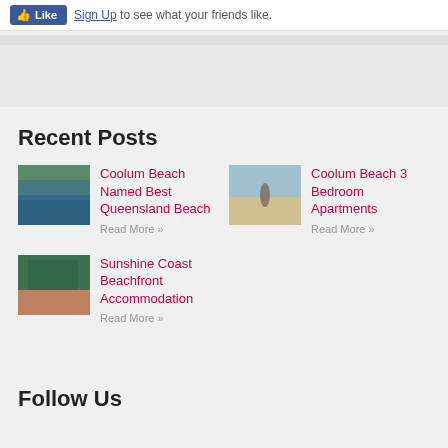Like  Sign Up to see what your friends like.
Recent Posts
[Figure (photo): Thumbnail photo of Coolum Beach]
Coolum Beach Named Best Queensland Beach
Read More »
[Figure (photo): Thumbnail photo of person on beach]
Coolum Beach 3 Bedroom Apartments
Read More »
[Figure (photo): Thumbnail photo of pool/beachfront accommodation]
Sunshine Coast Beachfront Accommodation
Read More »
Follow Us